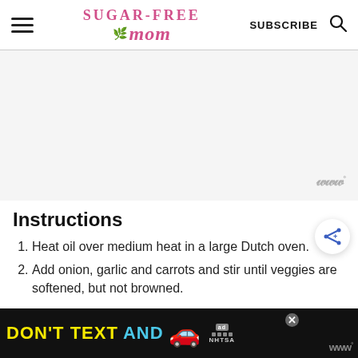Sugar-Free Mom — SUBSCRIBE
[Figure (screenshot): Advertisement placeholder area with Mediavine watermark logo (stylized W with degree symbol) in lower right]
Instructions
1. Heat oil over medium heat in a large Dutch oven.
2. Add onion, garlic and carrots and stir until veggies are softened, but not browned.
[Figure (screenshot): Bottom banner advertisement: 'DON'T TEXT AND' in yellow/cyan text with red car emoji, NHTSA ad badge, close button X, and Mediavine logo]